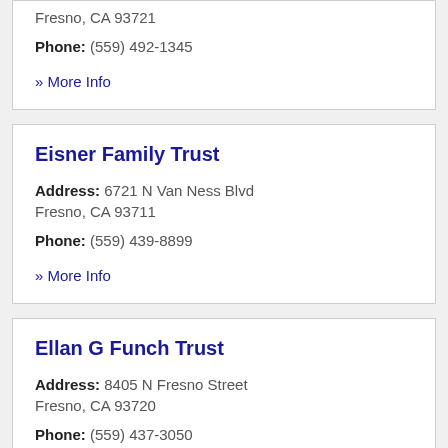Fresno, CA 93721
Phone: (559) 492-1345
» More Info
Eisner Family Trust
Address: 6721 N Van Ness Blvd
Fresno, CA 93711
Phone: (559) 439-8899
» More Info
Ellan G Funch Trust
Address: 8405 N Fresno Street
Fresno, CA 93720
Phone: (559) 437-3050